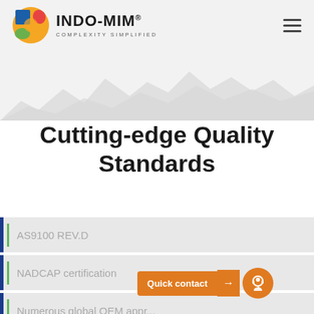[Figure (logo): INDO-MIM logo with colorful geometric shape and text 'INDO-MIM® COMPLEXITY SIMPLIFIED']
Cutting-edge Quality Standards
AS9100 REV.D
NADCAP certification
Numerous global OEM appr...
[Figure (infographic): Quick contact button with orange background and headset icon]